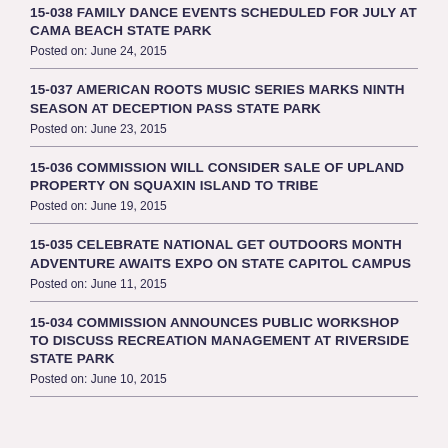15-038 FAMILY DANCE EVENTS SCHEDULED FOR JULY AT CAMA BEACH STATE PARK
Posted on: June 24, 2015
15-037 AMERICAN ROOTS MUSIC SERIES MARKS NINTH SEASON AT DECEPTION PASS STATE PARK
Posted on: June 23, 2015
15-036 COMMISSION WILL CONSIDER SALE OF UPLAND PROPERTY ON SQUAXIN ISLAND TO TRIBE
Posted on: June 19, 2015
15-035 CELEBRATE NATIONAL GET OUTDOORS MONTH ADVENTURE AWAITS EXPO ON STATE CAPITOL CAMPUS
Posted on: June 11, 2015
15-034 COMMISSION ANNOUNCES PUBLIC WORKSHOP TO DISCUSS RECREATION MANAGEMENT AT RIVERSIDE STATE PARK
Posted on: June 10, 2015